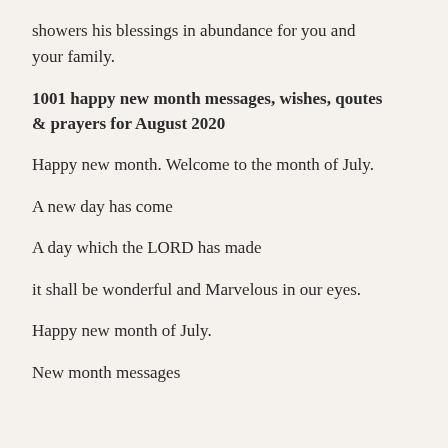showers his blessings in abundance for you and your family.
1001 happy new month messages, wishes, qoutes & prayers for August 2020
Happy new month. Welcome to the month of July.
A new day has come
A day which the LORD has made
it shall be wonderful and Marvelous in our eyes.
Happy new month of July.
New month messages